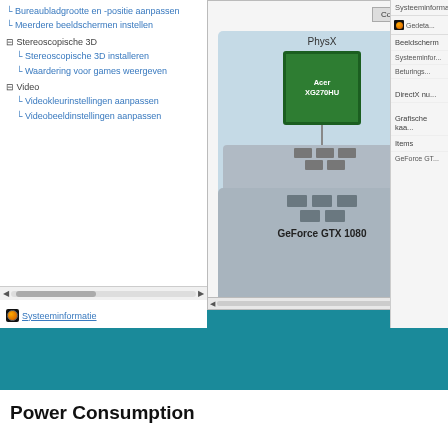[Figure (screenshot): NVIDIA Control Panel screenshot showing navigation tree on left with Stereoscopische 3D and Video options, PhysX configuration diagram in center showing Acer XG270HU monitor connected to GeForce GTX 1080 GPU, and Systeeminformatie panel on right.]
Power Consumption